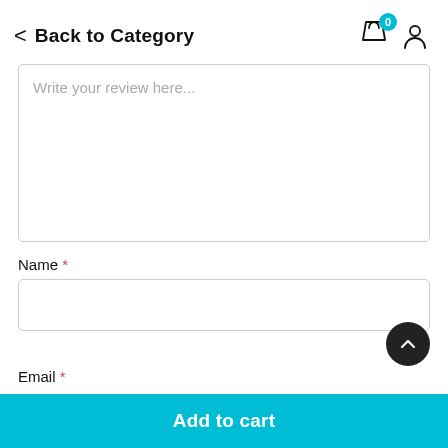< Back to Category
Write your review here...
Name *
Email *
Add to cart